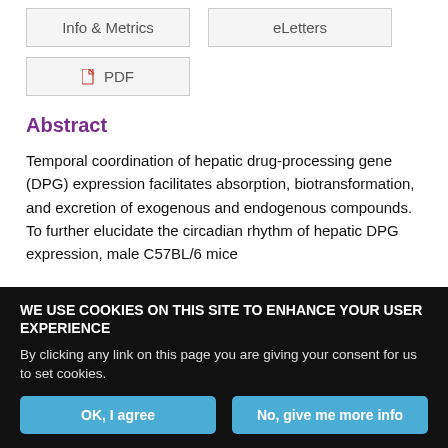Info & Metrics
eLetters
PDF
Abstract
Temporal coordination of hepatic drug-processing gene (DPG) expression facilitates absorption, biotransformation, and excretion of exogenous and endogenous compounds. To further elucidate the circadian rhythm of hepatic DPG expression, male C57BL/6 mice
WE USE COOKIES ON THIS SITE TO ENHANCE YOUR USER EXPERIENCE
By clicking any link on this page you are giving your consent for us to set cookies.
OK, I agree
No, give me more info